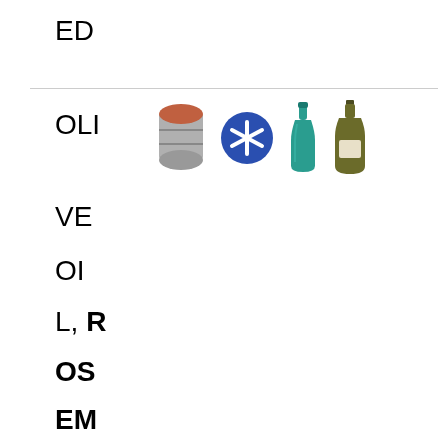ED
[Figure (illustration): Four icons in a row: a gray barrel/drum with a reddish top, a blue circle with a white asterisk/snowflake symbol, a teal/green glass bottle, and an olive/dark green bottle with a white label]
OLIVE OIL, ROSEMARY LAVENDER